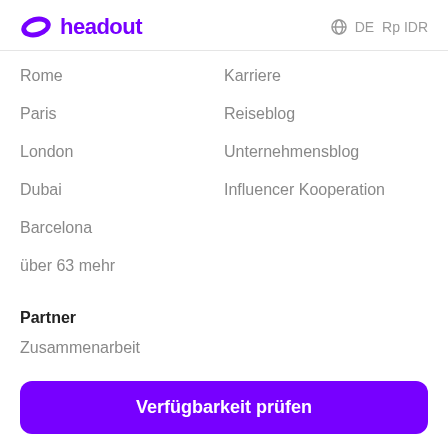headout  DE  RpIDR
Rome
Paris
London
Dubai
Barcelona
über 63 mehr
Karriere
Reiseblog
Unternehmensblog
Influencer Kooperation
Partner
Zusammenarbeit
Verfügbarkeit prüfen